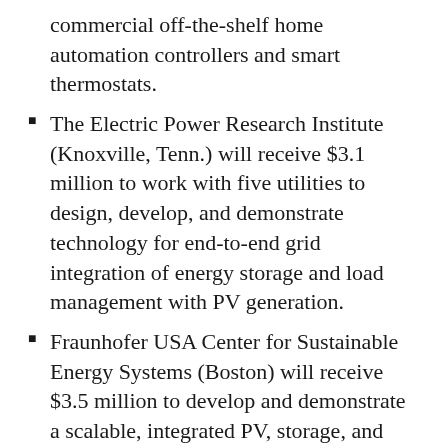commercial off-the-shelf home automation controllers and smart thermostats.
The Electric Power Research Institute (Knoxville, Tenn.) will receive $3.1 million to work with five utilities to design, develop, and demonstrate technology for end-to-end grid integration of energy storage and load management with PV generation.
Fraunhofer USA Center for Sustainable Energy Systems (Boston) will receive $3.5 million to develop and demonstrate a scalable, integrated PV, storage, and facility load management solution